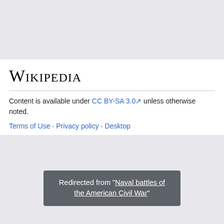[Figure (logo): Wikipedia logo wordmark in small-caps serif font]
Content is available under CC BY-SA 3.0 unless otherwise noted.
Terms of Use · Privacy policy · Desktop
Redirected from "Naval battles of the American Civil War"